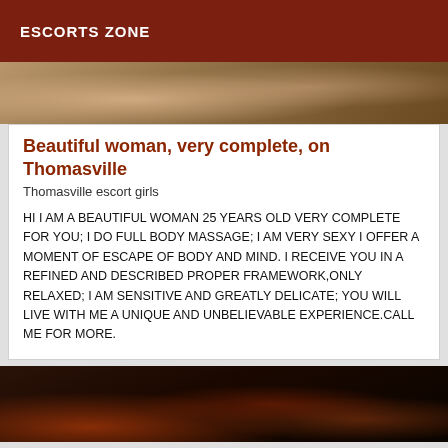ESCORTS ZONE
[Figure (photo): Partial photo showing hands and floral background, top portion of a person]
Beautiful woman, very complete, on Thomasville
Thomasville escort girls
HI I AM A BEAUTIFUL WOMAN 25 YEARS OLD VERY COMPLETE FOR YOU; I DO FULL BODY MASSAGE; I AM VERY SEXY I OFFER A MOMENT OF ESCAPE OF BODY AND MIND. I RECEIVE YOU IN A REFINED AND DESCRIBED PROPER FRAMEWORK,ONLY RELAXED; I AM SENSITIVE AND GREATLY DELICATE; YOU WILL LIVE WITH ME A UNIQUE AND UNBELIEVABLE EXPERIENCE.CALL ME FOR MORE.
[Figure (photo): Partial photo showing a person wearing dark red/black patterned clothing, bottom portion of page]